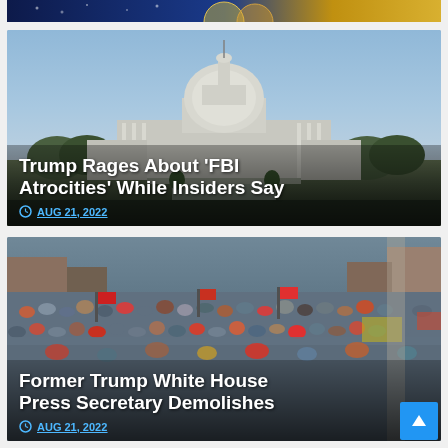[Figure (photo): Partial top of a card showing cryptocurrency/coin imagery with dark blue and gold tones]
[Figure (photo): Aerial photo of the US Capitol building in Washington DC with clear sky]
Trump Rages About ‘FBI Atrocities’ While Insiders Say
AUG 21, 2022
[Figure (photo): Aerial photo of a large crowd protest with people, flags and banners filling the street]
Former Trump White House Press Secretary Demolishes
AUG 21, 2022